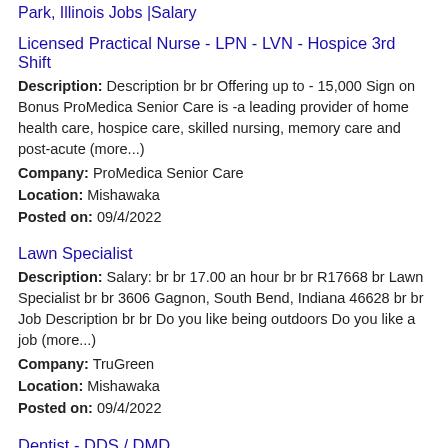Park, Illinois Jobs |Salary
Licensed Practical Nurse - LPN - LVN - Hospice 3rd Shift
Description: Description br br Offering up to - 15,000 Sign on Bonus ProMedica Senior Care is -a leading provider of home health care, hospice care, skilled nursing, memory care and post-acute (more...)
Company: ProMedica Senior Care
Location: Mishawaka
Posted on: 09/4/2022
Lawn Specialist
Description: Salary: br br 17.00 an hour br br R17668 br Lawn Specialist br br 3606 Gagnon, South Bend, Indiana 46628 br br Job Description br br Do you like being outdoors Do you like a job (more...)
Company: TruGreen
Location: Mishawaka
Posted on: 09/4/2022
Dentist - DDS / DMD
Description: This is a PRN, as needed, position. br br At Aspen Dental, we believe in doing just about anything to make our patients smile. Each Aspen Dental branded practice is owned and